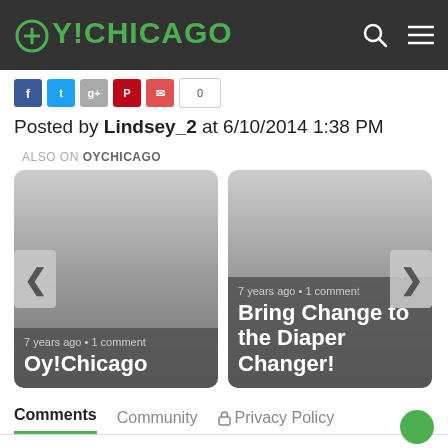OY!CHICAGO
Posted by Lindsey_2 at 6/10/2014 1:38 PM
ALSO ON OYCHICAGO
[Figure (screenshot): Two article cards in a carousel. Left card: '7 years ago • 1 comment' and title 'Oy!Chicago'. Right card: '7 years ago • 1 comment' and title 'Bring Change to the Diaper Changer!'. Navigation arrows on left and right.]
Comments   Community   Privacy Policy